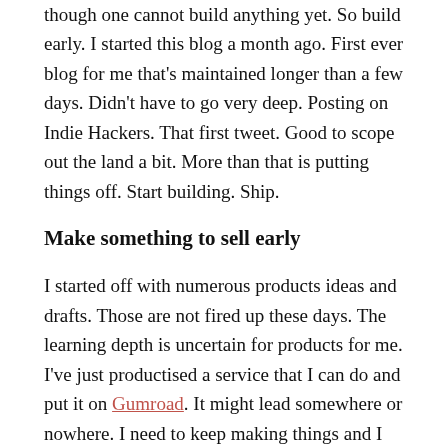though one cannot build anything yet. So build early. I started this blog a month ago. First ever blog for me that's maintained longer than a few days. Didn't have to go very deep. Posting on Indie Hackers. That first tweet. Good to scope out the land a bit. More than that is putting things off. Start building. Ship.
Make something to sell early
I started off with numerous products ideas and drafts. Those are not fired up these days. The learning depth is uncertain for products for me. I've just productised a service that I can do and put it on Gumroad. It might lead somewhere or nowhere. I need to keep making things and I want more ideas for those next week. Putting something for sale is the real validation on these ideas. We can put that off for a long time and let them